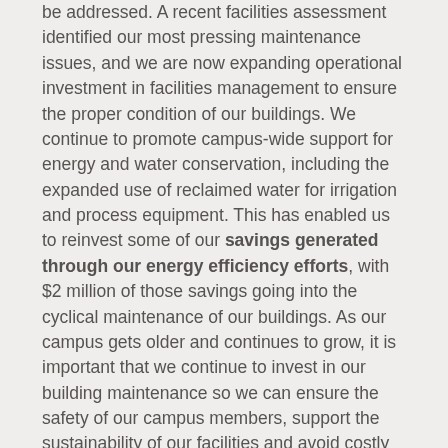be addressed. A recent facilities assessment identified our most pressing maintenance issues, and we are now expanding operational investment in facilities management to ensure the proper condition of our buildings. We continue to promote campus-wide support for energy and water conservation, including the expanded use of reclaimed water for irrigation and process equipment. This has enabled us to reinvest some of our savings generated through our energy efficiency efforts, with $2 million of those savings going into the cyclical maintenance of our buildings. As our campus gets older and continues to grow, it is important that we continue to invest in our building maintenance so we can ensure the safety of our campus members, support the sustainability of our facilities and avoid costly repairs in the future.
Building Leadership and Teams
Since his arrival a year ago, our Vice Chancellor and